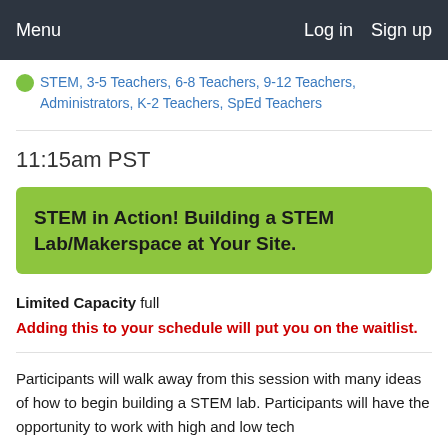Menu   Log in   Sign up
STEM, 3-5 Teachers, 6-8 Teachers, 9-12 Teachers, Administrators, K-2 Teachers, SpEd Teachers
11:15am PST
STEM in Action! Building a STEM Lab/Makerspace at Your Site.
Limited Capacity full
Adding this to your schedule will put you on the waitlist.
Participants will walk away from this session with many ideas of how to begin building a STEM lab. Participants will have the opportunity to work with high and low tech